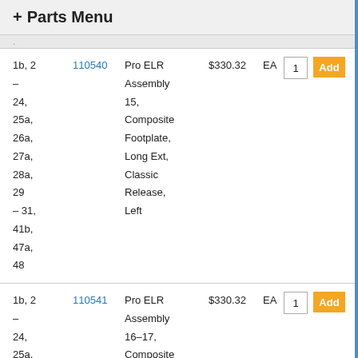+ Parts Menu
| Ref | Part No | Description | Price | Unit | Qty | Action |
| --- | --- | --- | --- | --- | --- | --- |
| 1b, 2 –
24,
25a,
26a,
27a,
28a,
29
– 31,
41b,
47a,
48 | 110540 | Pro ELR Assembly 15, Composite Footplate, Long Ext, Classic Release, Left | $330.32 | EA | 1 | Add |
| 1b, 2 –
24,
25a,
26a,
27a,
28a, | 110541 | Pro ELR Assembly 16-17, Composite Footplate, Long Ext, Classic | $330.32 | EA | 1 | Add |